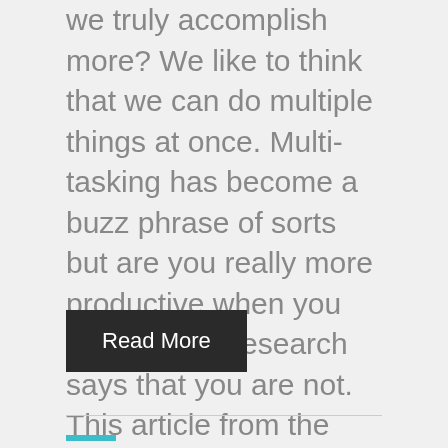we truly accomplish more? We like to think that we can do multiple things at once. Multi-tasking has become a buzz phrase of sorts but are you really more productive when you multi-task? Research says that you are not. This article from the Cleveland Clinic in March 2021 reports that multi-tasking can reduce our ability to focus intently on one task and our ability...
Read More